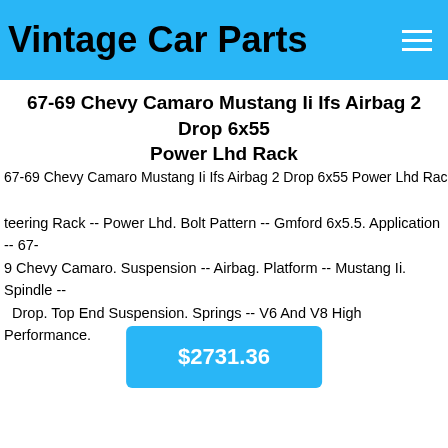Vintage Car Parts
67-69 Chevy Camaro Mustang Ii Ifs Airbag 2 Drop 6x55 Power Lhd Rack
67-69 Chevy Camaro Mustang Ii Ifs Airbag 2 Drop 6x55 Power Lhd Rack
teering Rack -- Power Lhd. Bolt Pattern -- Gmford 6x5.5. Application -- 67-69 Chevy Camaro. Suspension -- Airbag. Platform -- Mustang Ii. Spindle -- 2 Drop. Top End Suspension. Springs -- V6 And V8 High Performance.
$2731.36